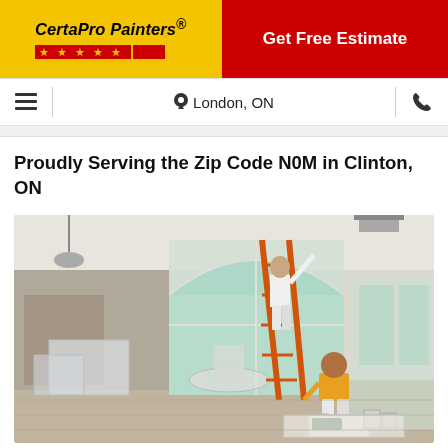CertaPro Painters® | Get Free Estimate
London, ON
Proudly Serving the Zip Code N0M in Clinton, ON
[Figure (photo): Two CertaPro Painters workers painting the interior of a large bright home. One worker in white stands on an orange ladder painting near tall arched windows. Another worker in a yellow shirt kneels on a drop cloth on the hardwood floor with paint supplies. Furniture is covered in plastic sheeting.]